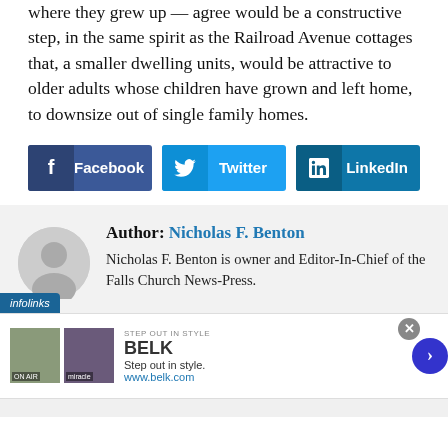where they grew up — agree would be a constructive step, in the same spirit as the Railroad Avenue cottages that, a smaller dwelling units, would be attractive to older adults whose children have grown and left home, to downsize out of single family homes.
[Figure (infographic): Social share buttons: Facebook, Twitter, LinkedIn]
[Figure (infographic): Author bio section with avatar placeholder, name Nicholas F. Benton in blue, and bio text. Infolinks badge at bottom left.]
[Figure (infographic): Advertisement banner for BELK - Step out in style. www.belk.com with two product images and navigation arrow.]